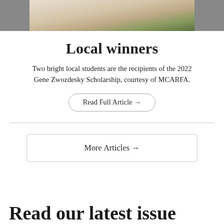[Figure (photo): Bottom portion of a photo showing two people, cropped at waist level, one wearing a white skirt/shorts, standing outdoors on grass]
Local winners
Two bright local students are the recipients of the 2022 Gene Zwozdesky Scholarship, courtesy of MCARFA.
Read Full Article →
More Articles →
Read our latest issue